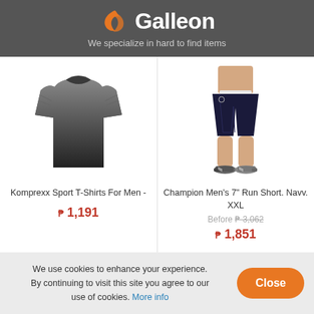[Figure (logo): Galleon logo with orange flame/wave icon and white text 'Galleon' on dark gray background]
We specialize in hard to find items
[Figure (photo): Komprexx Sport T-Shirt for Men - dark gray athletic shirt]
Komprexx Sport T-Shirts For Men -
₱ 1,191
[Figure (photo): Champion Men's 7" Run Short, Navy, XXL - man wearing navy blue athletic shorts]
Champion Men's 7" Run Short. Navv. XXL
Before ₱ 3,062
₱ 1,851
We use cookies to enhance your experience. By continuing to visit this site you agree to our use of cookies. More info